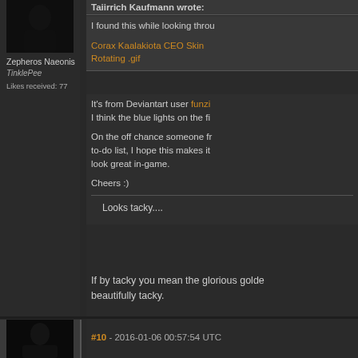[Figure (photo): Dark avatar image of a figure]
Zepheros Naeonis
TinklePee
Likes received: 77
Taiirrich Kaufmann wrote:
I found this while looking throu Corax Kaalakiota CEO Skin Rotating .gif
It's from Deviantart user funzi I think the blue lights on the fi
On the off chance someone fr to-do list, I hope this makes it look great in-game.
Cheers :)
Looks tacky....
If by tacky you mean the glorious golde beautifully tacky.
#10 - 2016-01-06 00:57:54 UTC
[Figure (photo): Dark avatar image at bottom of page]